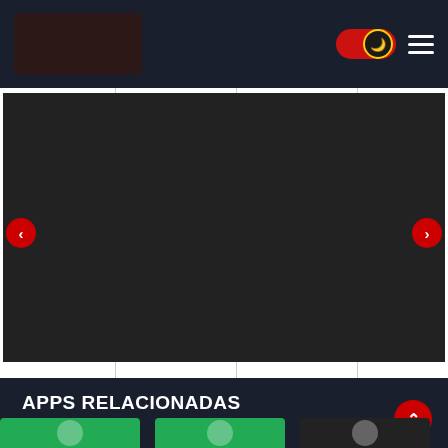[Figure (screenshot): Website header/navigation bar with dark background, logo placeholder on left, dark mode toggle with moon icon and hamburger menu on right]
[Figure (screenshot): Carousel showing Android Auto features: 4 panels - Just say Ok Google (green text), Navigate with Google Maps or Waze (blue text), Listen to your favorite media apps (orange text), Send using (red text, partially visible). Navigation arrows on left and right.]
APPS RELACIONADAS
[Figure (screenshot): Bottom of page showing app icons for related apps, partially visible, with scroll-to-top red circular button]